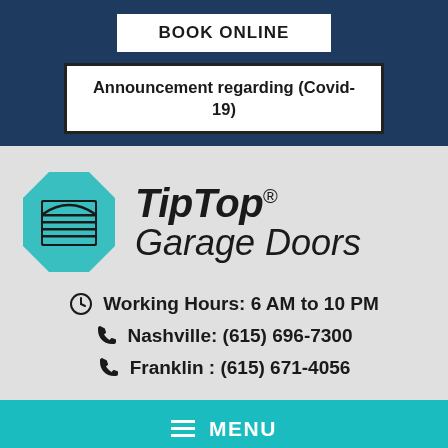BOOK ONLINE
Announcement regarding (Covid-19)
[Figure (logo): TipTop Garage Doors logo: teal octagon with garage door icon and italic brand name TipTop Garage Doors]
Working Hours: 6 AM to 10 PM
Nashville: (615) 696-7300
Franklin : (615) 671-4056
≡ MENU